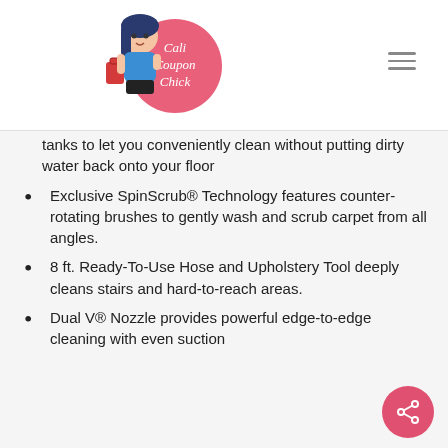[Figure (logo): Cali Coupon Chick logo — cartoon woman with shopping bags inside a pink circle with the text 'Cali Coupon Chick']
tanks to let you conveniently clean without putting dirty water back onto your floor
Exclusive SpinScrub® Technology features counter-rotating brushes to gently wash and scrub carpet from all angles.
8 ft. Ready-To-Use Hose and Upholstery Tool deeply cleans stairs and hard-to-reach areas.
Dual V® Nozzle provides powerful edge-to-edge cleaning with even suction